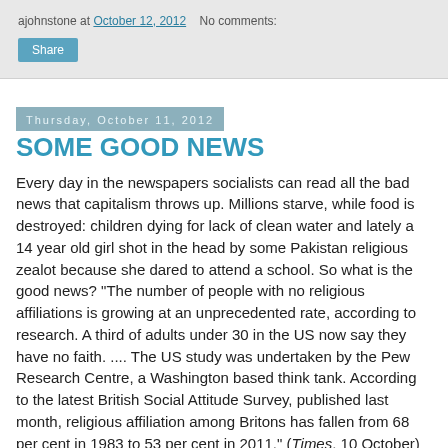ajohnstone at October 12, 2012   No comments:
Share
Thursday, October 11, 2012
SOME GOOD NEWS
Every day in the newspapers socialists can read all the bad news that capitalism throws up. Millions starve, while food is destroyed: children dying for lack of clean water and lately a 14 year old girl shot in the head by some Pakistan religious zealot because she dared to attend a school. So what is the good news? "The number of people with no religious affiliations is growing at an unprecedented rate, according to research. A third of adults under 30 in the US now say they have no faith. .... The US study was undertaken by the Pew Research Centre, a Washington based think tank. According to the latest British Social Attitude Survey, published last month, religious affiliation among Britons has fallen from 68 per cent in 1983 to 53 per cent in 2011." (Times, 10 October) RD